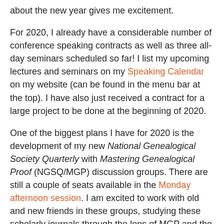about the new year gives me excitement.
For 2020, I already have a considerable number of conference speaking contracts as well as three all-day seminars scheduled so far! I list my upcoming lectures and seminars on my Speaking Calendar on my website (can be found in the menu bar at the top). I have also just received a contract for a large project to be done at the beginning of 2020.
One of the biggest plans I have for 2020 is the development of my new National Genealogical Society Quarterly with Mastering Genealogical Proof (NGSQ/MGP) discussion groups. There are still a couple of seats available in the Monday afternoon session. I am excited to work with old and new friends in these groups, studying these scholarly journals through the lens of MGP and the Genealogical Proof Standard (GPS).